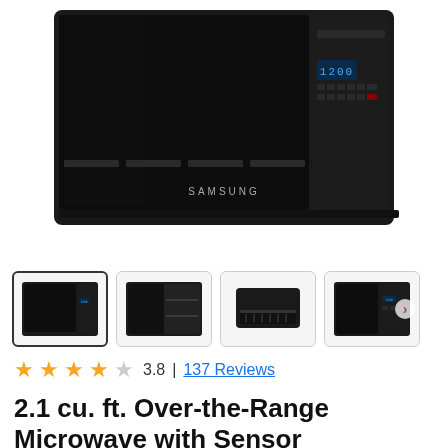[Figure (photo): Samsung black over-the-range microwave oven, front view showing control panel with digital display showing 1200, various buttons, and Samsung logo]
[Figure (photo): Four thumbnail images of the Samsung microwave from different angles: front view (selected), interior with open door, bottom view, and control panel view]
3.8 | 137 Reviews
2.1 cu. ft. Over-the-Range Microwave with Sensor